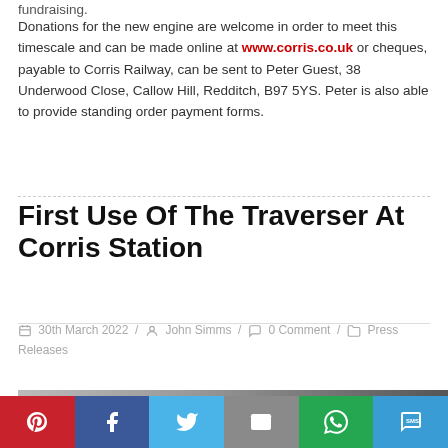fundraising.
Donations for the new engine are welcome in order to meet this timescale and can be made online at www.corris.co.uk or cheques, payable to Corris Railway, can be sent to Peter Guest, 38 Underwood Close, Callow Hill, Redditch, B97 5YS. Peter is also able to provide standing order payment forms.
First Use Of The Traverser At Corris Station
30th March 2022 / John Simms / 0 Comment / Press Releases
[Figure (photo): Partial photo strip at bottom of page]